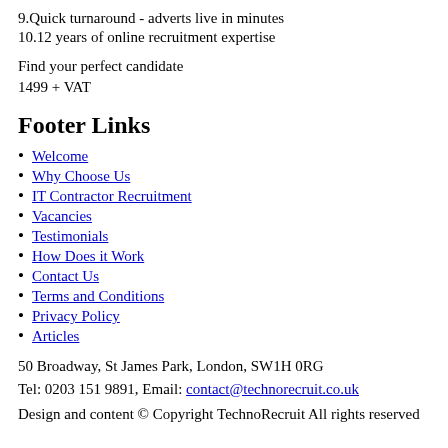9. Quick turnaround - adverts live in minutes
10. 12 years of online recruitment expertise
Find your perfect candidate
1499 + VAT
Footer Links
Welcome
Why Choose Us
IT Contractor Recruitment
Vacancies
Testimonials
How Does it Work
Contact Us
Terms and Conditions
Privacy Policy
Articles
50 Broadway, St James Park, London, SW1H 0RG
Tel: 0203 151 9891, Email: contact@technorecruit.co.uk
Design and content © Copyright TechnoRecruit All rights reserved